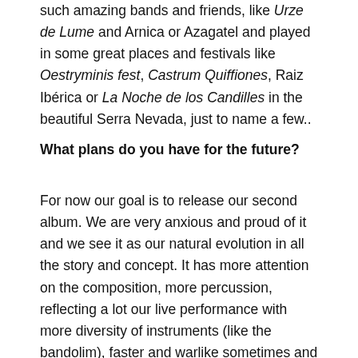such amazing bands and friends, like Urze de Lume and Arnica or Azagatel and played in some great places and festivals like Oestryminis fest, Castrum Quiffiones, Raiz Ibérica or La Noche de los Candilles in the beautiful Serra Nevada, just to name a few..
What plans do you have for the future?
For now our goal is to release our second album. We are very anxious and proud of it and we see it as our natural evolution in all the story and concept. It has more attention on the composition, more percussion, reflecting a lot our live performance with more diversity of instruments (like the bandolim), faster and warlike sometimes and more intimist and mysterious in other hand.. We also had a invitation for a compilation from Raiz Ibérica with a exclusive track.